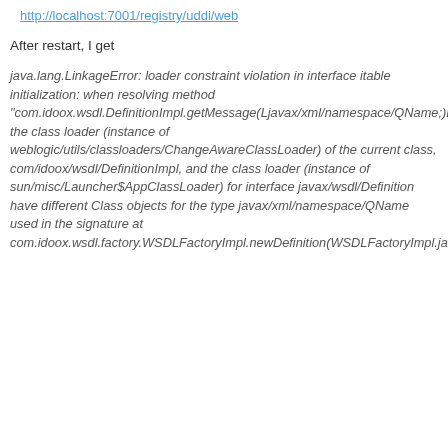http://localhost:7001/registry/uddi/web
After restart, I get
java.lang.LinkageError: loader constraint violation in interface itable initialization: when resolving method "com.idoox.wsdl.DefinitionImpl.getMessage(Ljavax/xml/namespace/QName;)Ljavax/wsdl/Message;" the class loader (instance of weblogic/utils/classloaders/ChangeAwareClassLoader) of the current class, com/idoox/wsdl/DefinitionImpl, and the class loader (instance of sun/misc/Launcher$AppClassLoader) for interface javax/wsdl/Definition have different Class objects for the type javax/xml/namespace/QName used in the signature at com.idoox.wsdl.factory.WSDLFactoryImpl.newDefinition(WSDLFactoryImpl.java:60)